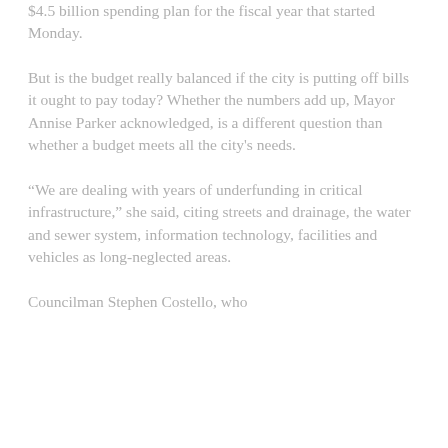$4.5 billion spending plan for the fiscal year that started Monday.
But is the budget really balanced if the city is putting off bills it ought to pay today? Whether the numbers add up, Mayor Annise Parker acknowledged, is a different question than whether a budget meets all the city's needs.
“We are dealing with years of underfunding in critical infrastructure,” she said, citing streets and drainage, the water and sewer system, information technology, facilities and vehicles as long-neglected areas.
Councilman Stephen Costello, who